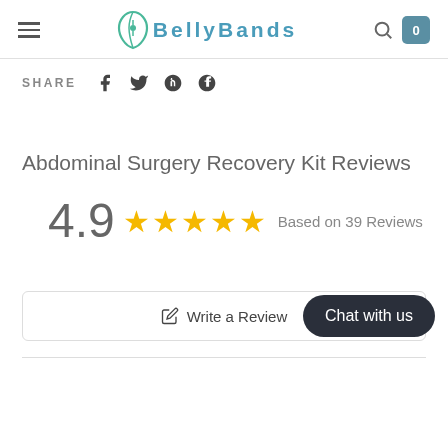BellyBands
SHARE
Abdominal Surgery Recovery Kit Reviews
4.9 ★★★★★ Based on 39 Reviews
Write a Review
Chat with us